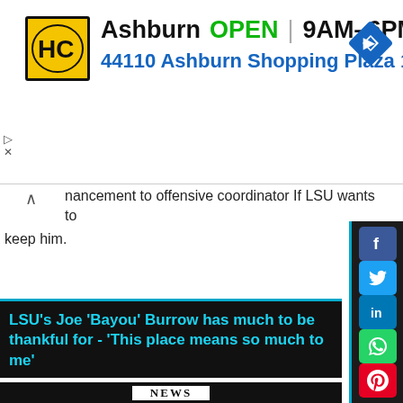[Figure (logo): HC logo in yellow square with black border]
Ashburn  OPEN | 9AM–6PM
44110 Ashburn Shopping Plaza 1.
[Figure (other): Blue navigation/directions diamond icon]
nancement to offensive coordinator If LSU wants to keep him.
[Figure (other): Social media share sidebar with Facebook, Twitter, LinkedIn, WhatsApp, Pinterest icons]
LSU's Joe 'Bayou' Burrow has much to be thankful for - 'This place means so much to me'
[Figure (photo): Newspaper front page with 'NEWS' in large bold letters and 'EWS OF BUSINESS WORLD' on black banner, blurred text below]